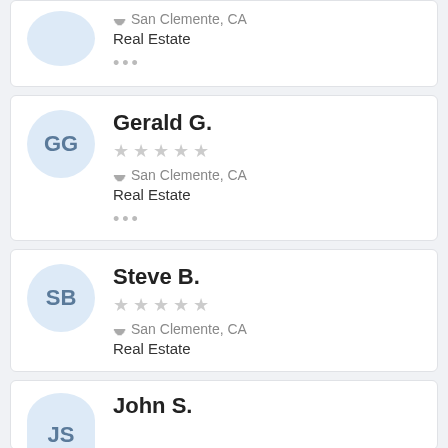San Clemente, CA | Real Estate | ...
GG | Gerald G. | ☆☆☆☆☆ | San Clemente, CA | Real Estate | ...
SB | Steve B. | ☆☆☆☆☆ | San Clemente, CA | Real Estate
JS | John S.